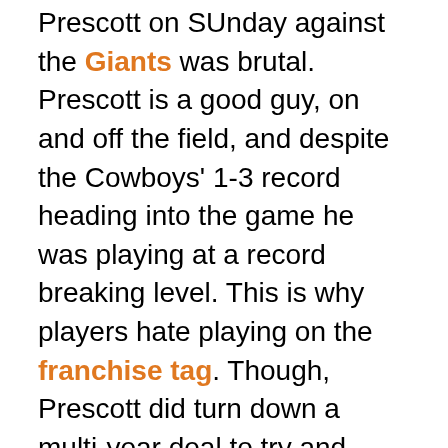Prescott on SUnday against the Giants was brutal. Prescott is a good guy, on and off the field, and despite the Cowboys' 1-3 record heading into the game he was playing at a record breaking level. This is why players hate playing on the franchise tag. Though, Prescott did turn down a multi-year deal to try and maximize next free agency - and he was well on his way. Wish him nothing but the best.
2.) The mighty fall. Tom Brady wasn't the only quarterback who suffered his first loss against an NFL franchise in week five. Yes, Brady was 4-0 against the Bears all time before Thursday night. Joining him is now Patrick Mahomes who was undefeated against the Oakland/Las Vegas Raiders until the Raiders pulled off the thrilling shootout 40-32. Kansas CIty has looked less than dominant the last few weeks. They